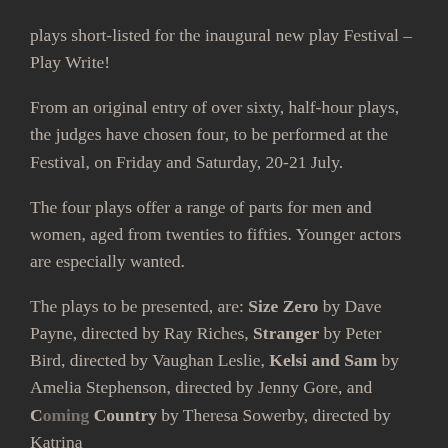plays short-listed for the inaugural new play Festival – Play Write!
From an original entry of over sixty, half-hour plays, the judges have chosen four, to be performed at the Festival, on Friday and Saturday, 20-21 July.
The four plays offer a range of parts for men and women, aged from twenties to fifties. Younger actors are especially wanted.
The plays to be presented, are: Size Zero by Dave Payne, directed by Ray Riches, Stranger by Peter Bird, directed by Vaughan Leslie, Kelsi and Sam by Amelia Stephenson, directed by Jenny Gore, and Coming Country by Theresa Sowerby, directed by Katrina